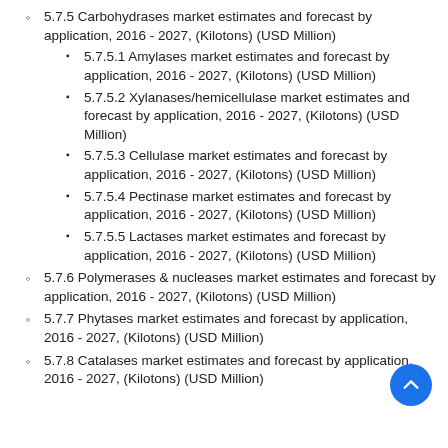5.7.5 Carbohydrases market estimates and forecast by application, 2016 - 2027, (Kilotons) (USD Million)
5.7.5.1 Amylases market estimates and forecast by application, 2016 - 2027, (Kilotons) (USD Million)
5.7.5.2 Xylanases/hemicellulase market estimates and forecast by application, 2016 - 2027, (Kilotons) (USD Million)
5.7.5.3 Cellulase market estimates and forecast by application, 2016 - 2027, (Kilotons) (USD Million)
5.7.5.4 Pectinase market estimates and forecast by application, 2016 - 2027, (Kilotons) (USD Million)
5.7.5.5 Lactases market estimates and forecast by application, 2016 - 2027, (Kilotons) (USD Million)
5.7.6 Polymerases & nucleases market estimates and forecast by application, 2016 - 2027, (Kilotons) (USD Million)
5.7.7 Phytases market estimates and forecast by application, 2016 - 2027, (Kilotons) (USD Million)
5.7.8 Catalases market estimates and forecast by application, 2016 - 2027, (Kilotons) (USD Million)